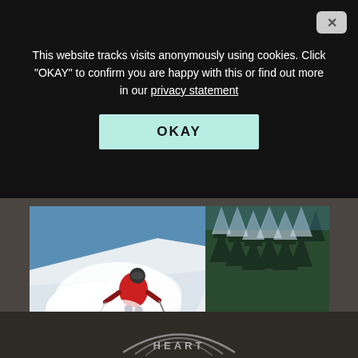This website tracks visits anonymously using cookies. Click "OKAY" to confirm you are happy with this or find out more in our privacy statement
[Figure (screenshot): OKAY button - mint/cyan colored rectangular button with bold black text 'OKAY']
[Figure (photo): Skier in red jacket skiing through deep powder snow with snow-covered trees in background at Whistler mountain]
Winter Pass Holder Deals
As a Pass Holder*, save an additional 20%* off lodging at Legends Whistler, Evolution and First Tracks Lodge on your next winter getaway to Whistler. »
[Figure (logo): Partial logo at bottom showing arc lines and text 'HEART' in grey/silver on dark background]